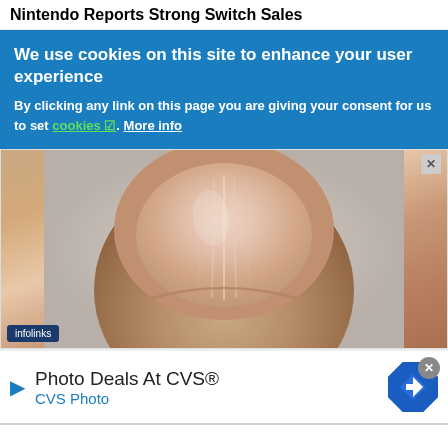Nintendo Reports Strong Switch Sales
We use cookies on this site to enhance your user experience
By clicking any link on this page you are giving your consent for us to set cookies. More info
[Figure (photo): Close-up photograph of a human fingernail/thumbnail showing ridges and natural coloring, with infolinks badge overlay in bottom-left corner]
Photo Deals At CVS®
CVS Photo